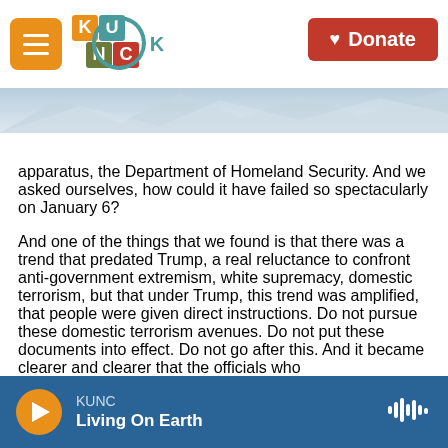KUNC | Donate
[Figure (illustration): Mountain landscape background strip]
apparatus, the Department of Homeland Security. And we asked ourselves, how could it have failed so spectacularly on January 6?

And one of the things that we found is that there was a trend that predated Trump, a real reluctance to confront anti-government extremism, white supremacy, domestic terrorism, but that under Trump, this trend was amplified, that people were given direct instructions. Do not pursue these domestic terrorism avenues. Do not put these documents into effect. Do not go after this. And it became clearer and clearer that the officials who
KUNC | Living On Earth